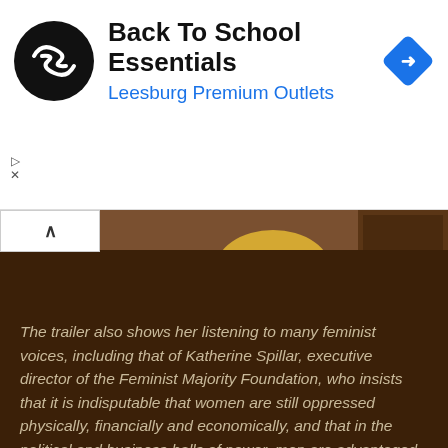[Figure (screenshot): Advertisement banner for 'Back To School Essentials' at Leesburg Premium Outlets, with a circular black logo with double arrow symbols on the left and a blue diamond navigation arrow icon on the right.]
[Figure (photo): A woman with blonde hair sits at a kitchen table with her hands raised to her temples, appearing stressed or thoughtful. The background shows a warmly lit kitchen interior.]
The trailer also shows her listening to many feminist voices, including that of Katherine Spillar, executive director of the Feminist Majority Foundation, who insists that it is indisputable that women are still oppressed physically, financially and economically, and that in the political and business halls of power, men are advantaged over women.